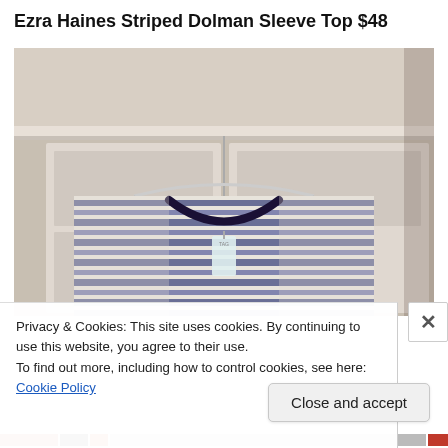Ezra Haines Striped Dolman Sleeve Top $48
[Figure (photo): A blue and white striped knit top with dark navy trim around the neckline, hanging on a clear plastic hanger against a white door background. A product tag is visible.]
Privacy & Cookies: This site uses cookies. By continuing to use this website, you agree to their use.
To find out more, including how to control cookies, see here: Cookie Policy
Close and accept